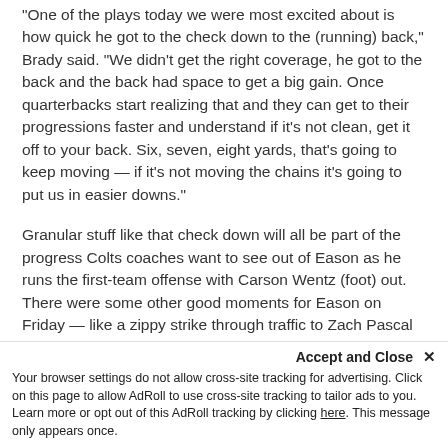"One of the plays today we were most excited about is how quick he got to the check down to the (running) back," Brady said. "We didn't get the right coverage, he got to the back and the back had space to get a big gain. Once quarterbacks start realizing that and they can get to their progressions faster and understand if it's not clean, get it off to your back. Six, seven, eight yards, that's going to keep moving — if it's not moving the chains it's going to put us in easier downs."
Granular stuff like that check down will all be part of the progress Colts coaches want to see out of Eason as he runs the first-team offense with Carson Wentz (foot) out. There were some other good moments for Eason on Friday — like a zippy strike through traffic to Zach Pascal for a touchdown in 11 on 11 work — but there are plenty of little things that need to making...
Accept and Close ×
Your browser settings do not allow cross-site tracking for advertising. Click on this page to allow AdRoll to use cross-site tracking to tailor ads to you. Learn more or opt out of this AdRoll tracking by clicking here. This message only appears once.